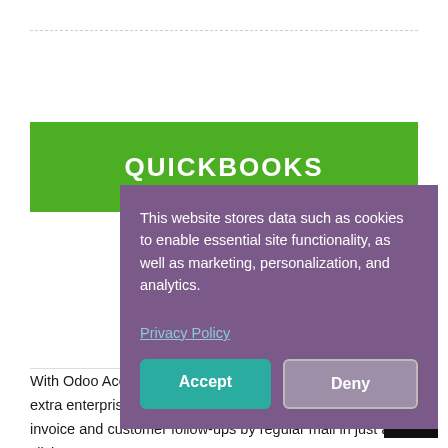QUICKBOOKS
This website stores data such as cookies to enable essential site functionality, as well as marketing, personalization, and analytics.
Privacy Policy
Accept
Deny
With Odoo Accounting, you get the ease of use of Xero with extra enterprise features: assets, analytic accounting, send invoice and customer follow-ups by regular mail in just a click, etc.